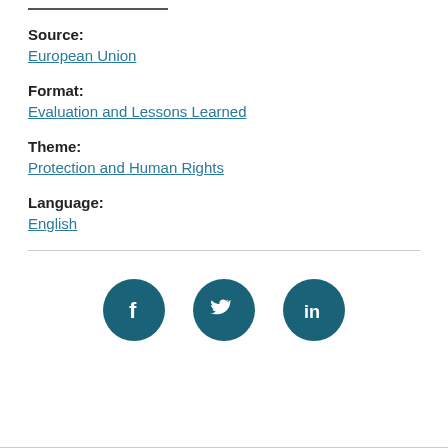Source:
European Union
Format:
Evaluation and Lessons Learned
Theme:
Protection and Human Rights
Language:
English
[Figure (illustration): Social media icons: Facebook, Twitter, LinkedIn in dark teal circles]